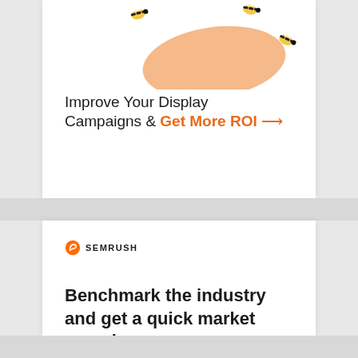[Figure (illustration): Cartoon illustration of bees flying around a peach/orange colored shape on a white background]
Improve Your Display Campaigns & Get More ROI →
[Figure (logo): Semrush logo with orange circular icon and SEMRUSH text in black]
Benchmark the industry and get a quick market overview